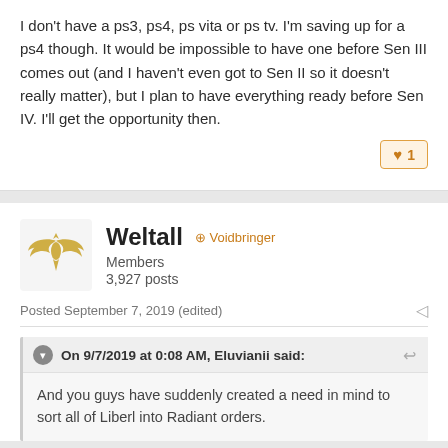I don't have a ps3, ps4, ps vita or ps tv. I'm saving up for a ps4 though. It would be impossible to have one before Sen III comes out (and I haven't even got to Sen II so it doesn't really matter), but I plan to have everything ready before Sen IV. I'll get the opportunity then.
♥ 1
Weltall
⊕ Voidbringer
Members
3,927 posts
Posted September 7, 2019 (edited)
On 9/7/2019 at 0:08 AM, Eluvianii said:
And you guys have suddenly created a need in mind to sort all of Liberl into Radiant orders.